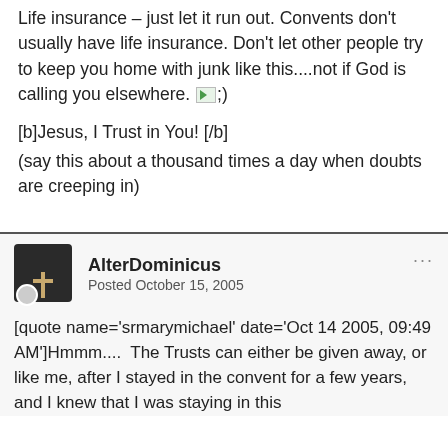Life insurance – just let it run out. Convents don't usually have life insurance. Don't let other people try to keep you home with junk like this....not if God is calling you elsewhere. ;)
[b]Jesus, I Trust in You! [/b]
(say this about a thousand times a day when doubts are creeping in)
AlterDominicus
Posted October 15, 2005
[quote name='srmarymichael' date='Oct 14 2005, 09:49 AM']Hmmm....  The Trusts can either be given away, or like me, after I stayed in the convent for a few years, and I knew that I was staying in this